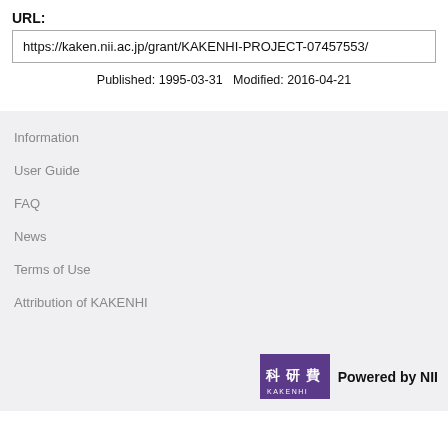URL:
https://kaken.nii.ac.jp/grant/KAKENHI-PROJECT-07457553/
Published: 1995-03-31   Modified: 2016-04-21
Information
User Guide
FAQ
News
Terms of Use
Attribution of KAKENHI
[Figure (logo): KAKENHI logo with purple background and Japanese characters 科研費, with text 'Powered by NII']